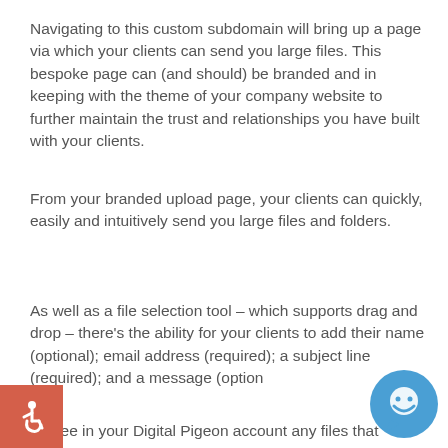Navigating to this custom subdomain will bring up a page via which your clients can send you large files. This bespoke page can (and should) be branded and in keeping with the theme of your company website to further maintain the trust and relationships you have built with your clients.
From your branded upload page, your clients can quickly, easily and intuitively send you large files and folders.
As well as a file selection tool – which supports drag and drop – there's the ability for your clients to add their name (optional); email address (required); a subject line (required); and a message (option…
…u'll see in your Digital Pigeon account any files that